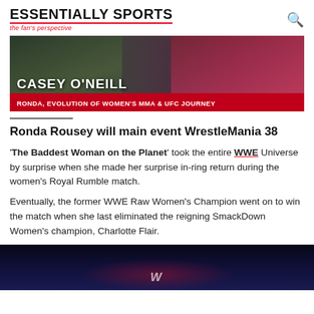ESSENTIALLY SPORTS – the fan's perspective
[Figure (photo): Casey O'Neill interview banner: left side shows MMA fighter in cage, right side shows woman in red; red banner reads 'CASEY O'NEILL – RONDA, EVOLUTION OF WOMEN'S MMA & UFC JOURNEY']
Ronda Rousey will main event WrestleMania 38
'The Baddest Woman on the Planet' took the entire WWE Universe by surprise when she made her surprise in-ring return during the women's Royal Rumble match.
Eventually, the former WWE Raw Women's Champion went on to win the match when she last eliminated the reigning SmackDown Women's champion, Charlotte Flair.
[Figure (photo): Bottom banner showing WWE arena stage with purple/blue lighting and WWE logo]